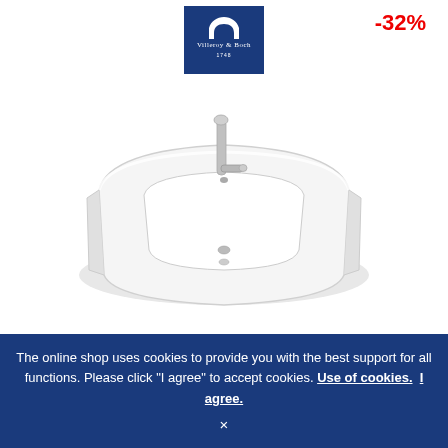[Figure (logo): Villeroy & Boch logo — white text on dark blue background]
-32%
[Figure (photo): White ceramic hand-rinse basin with chrome tap, viewed from above at an angle]
Villeroy & Boch Venticello - Hand-rinse basin for Furniture 500x420mm with 1 tap hole with overflow white with CeramicPlus
€ 307.50*
€ 206.22
The online shop uses cookies to provide you with the best support for all functions. Please click "I agree" to accept cookies. Use of cookies. I agree. ×